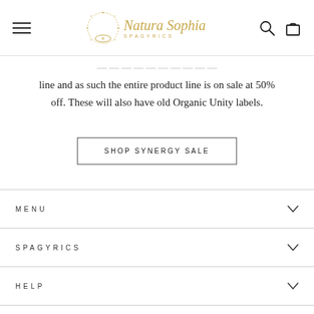Natura Sophia Spagyrics — navigation header with hamburger menu, logo, search and cart icons
line and as such the entire product line is on sale at 50% off. These will also have old Organic Unity labels.
SHOP SYNERGY SALE
MENU
SPAGYRICS
HELP
STAY CONNECTED